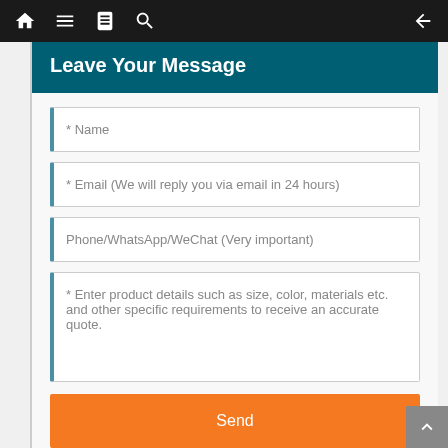Navigation bar with home, menu, book, search icons and back arrow
Leave Your Message
* Name
* Email (We will reply you via email in 24 hours)
Phone/WhatsApp/WeChat (Very important)
* Enter product details such as size, color, materials etc. and other specific requirements to receive an accurate quote.
Send